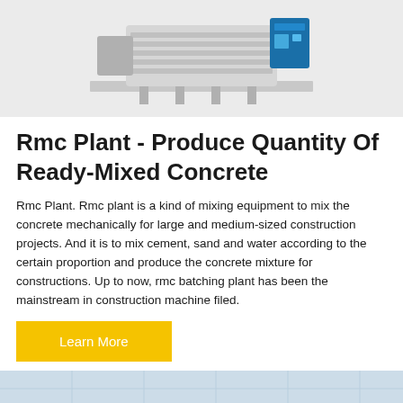[Figure (photo): Photo of an RMC plant / concrete mixing machine, light grey background, machine facing forward]
Rmc Plant - Produce Quantity Of Ready-Mixed Concrete
Rmc Plant. Rmc plant is a kind of mixing equipment to mix the concrete mechanically for large and medium-sized construction projects. And it is to mix cement, sand and water according to the certain proportion and produce the concrete mixture for constructions. Up to now, rmc batching plant has been the mainstream in construction machine filed.
Learn More
[Figure (photo): Bottom partial photo showing a blue/green drum mixer equipment against a light blue building/grid background, with a dark circular scroll-to-top button in the bottom right]